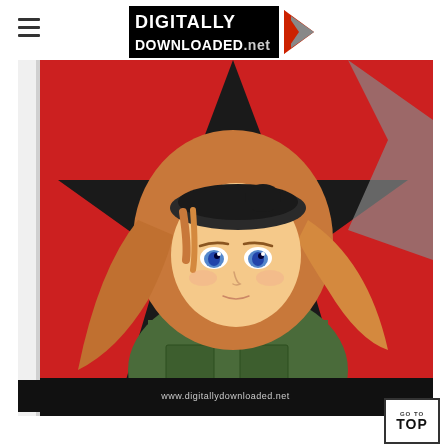DIGITALLY DOWNLOADED.net
[Figure (illustration): Anime-style illustration of a young woman with long blonde hair and blue eyes, wearing a dark green military-style jacket, posed against a red background with a large black star shape. The image has a white gutter on the left side. At the bottom is a black banner with the text www.digitallydownloaded.net]
www.digitallydownloaded.net
GO TO TOP